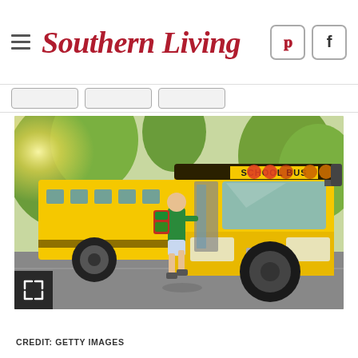Southern Living
[Figure (photo): A yellow school bus with open doors and a child with a backpack boarding the bus, photographed outdoors on a suburban street with trees in the background. A full-expand icon overlay appears in the bottom-left corner of the image.]
CREDIT: GETTY IMAGES